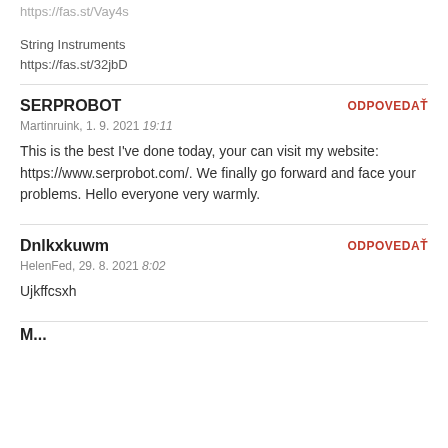https://fas.st/Vay4s
String Instruments
https://fas.st/32jbD
SERPROBOT
Martinruink, 1. 9. 2021 19:11
This is the best I've done today, your can visit my website: https://www.serprobot.com/. We finally go forward and face your problems. Hello everyone very warmly.
Dnlkxkuwm
HelenFed, 29. 8. 2021 8:02
Ujkffcsxh
M...